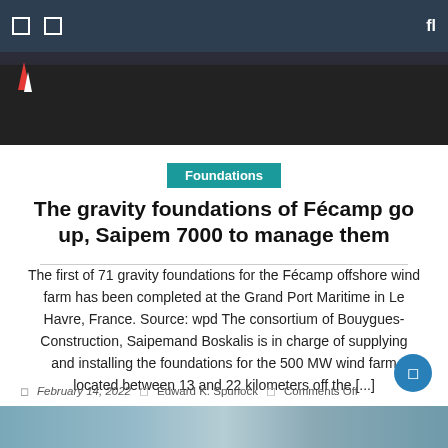[Figure (photo): Top navigation bar with dark navy background, white icon buttons on left, and search icon on right, overlaid on a photo of a dark runway or road surface with red/white cone visible]
Foundations
The gravity foundations of Fécamp go up, Saipem 7000 to manage them
The first of 71 gravity foundations for the Fécamp offshore wind farm has been completed at the Grand Port Maritime in Le Havre, France. Source: wpd The consortium of Bouygues-Construction, Saipemand Boskalis is in charge of supplying and installing the foundations for the 500 MW wind farm located between 13 and 22 kilometers off the [...]
February 14, 2022   Edward K. Spurlock   Comments Off
[Figure (photo): Bottom strip showing interior of industrial/engineering facility]